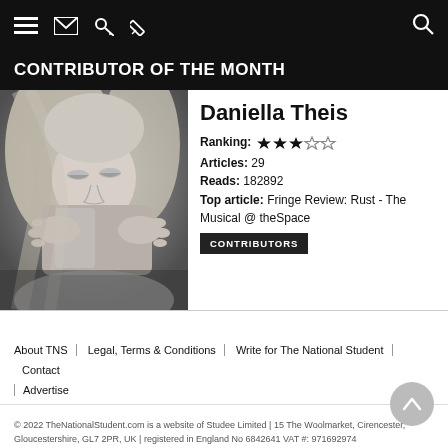[Navigation bar with menu, mail, key, pencil, search icons]
CONTRIBUTOR OF THE MONTH
[Figure (photo): Black and white photo of Daniella Theis, a young woman with long blonde hair, holding a coffee cup up to her face with both hands, wearing a ring.]
Daniella Theis
Ranking: ★★★☆☆
Articles: 29
Reads: 182892
Top article: Fringe Review: Rust - The Musical @ theSpace
CONTRIBUTORS
About TNS | Legal, Terms & Conditions | Write for The National Student | Contact | Advertise
© 2022 TheNationalStudent.com is a website of Studee Limited | 15 The Woolmarket, Cirencester, Gloucestershire, GL7 2PR, UK | registered in England No 6842641 VAT #: 971692974